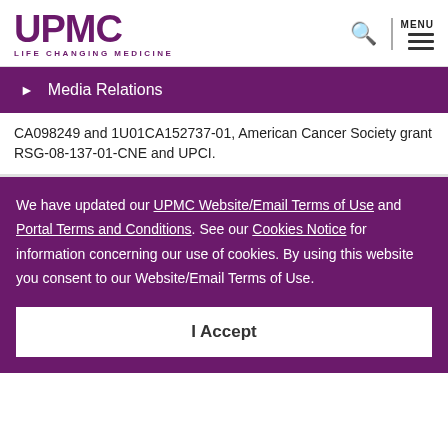UPMC LIFE CHANGING MEDICINE
Media Relations
CA098249 and 1U01CA152737-01, American Cancer Society grant RSG-08-137-01-CNE and UPCI.
We have updated our UPMC Website/Email Terms of Use and Portal Terms and Conditions. See our Cookies Notice for information concerning our use of cookies. By using this website you consent to our Website/Email Terms of Use.
I Accept